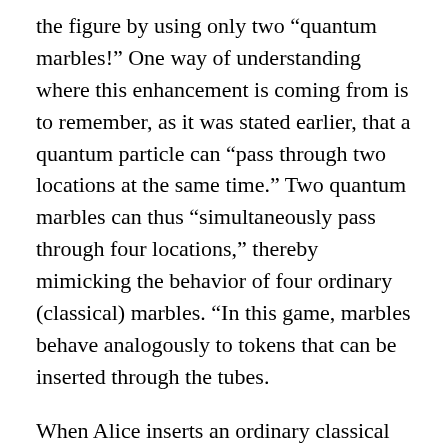the figure by using only two “quantum marbles!” One way of understanding where this enhancement is coming from is to remember, as it was stated earlier, that a quantum particle can “pass through two locations at the same time.” Two quantum marbles can thus “simultaneously pass through four locations,” thereby mimicking the behavior of four ordinary (classical) marbles. “In this game, marbles behave analogously to tokens that can be inserted through the tubes.
When Alice inserts an ordinary classical marble, it is as if she inserted 1 penny. On the other hand, as quantum theory allows marbles to “pass through 2 tubes at the same time,” each quantum marble is worth 2 pennies. The value of the tokens is additive: for example, in order to win the game, Alice can either insert 4 classical marbles or 2 quantum marbles, as the total token value is in